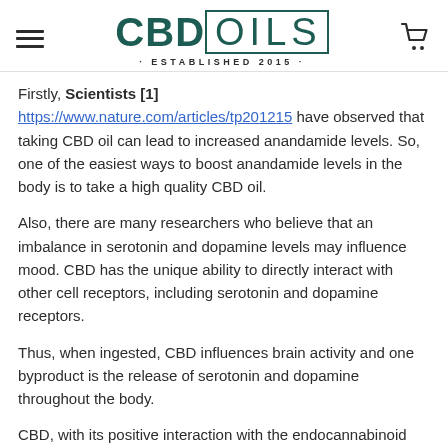CBD OILS · ESTABLISHED 2015 ·
Firstly, Scientists [1] https://www.nature.com/articles/tp201215 have observed that taking CBD oil can lead to increased anandamide levels. So, one of the easiest ways to boost anandamide levels in the body is to take a high quality CBD oil.
Also, there are many researchers who believe that an imbalance in serotonin and dopamine levels may influence mood. CBD has the unique ability to directly interact with other cell receptors, including serotonin and dopamine receptors.
Thus, when ingested, CBD influences brain activity and one byproduct is the release of serotonin and dopamine throughout the body.
CBD, with its positive interaction with the endocannabinoid system (ECS), can help to regulate the body's stress response.
It does this by reducing potentially damaging levels of the stress